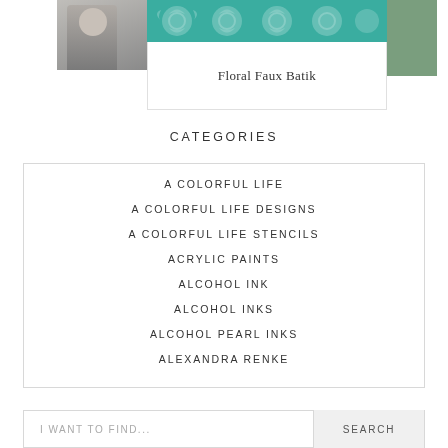[Figure (photo): Top card with teal floral faux batik banner image, a partial person photo on the left, and a sage green color block on the right. Text 'Floral Faux Batik' centered below the banner.]
Floral Faux Batik
CATEGORIES
A COLORFUL LIFE
A COLORFUL LIFE DESIGNS
A COLORFUL LIFE STENCILS
ACRYLIC PAINTS
ALCOHOL INK
ALCOHOL INKS
ALCOHOL PEARL INKS
ALEXANDRA RENKE
I WANT TO FIND...
SEARCH